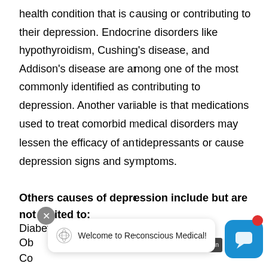health condition that is causing or contributing to their depression. Endocrine disorders like hypothyroidism, Cushing's disease, and Addison's disease are among one of the most commonly identified as contributing to depression. Another variable is that medications used to treat comorbid medical disorders may lessen the efficacy of antidepressants or cause depression signs and symptoms.
Others causes of depression include but are not limited to:
Diabetes
Obesity
Coronary
Cancer